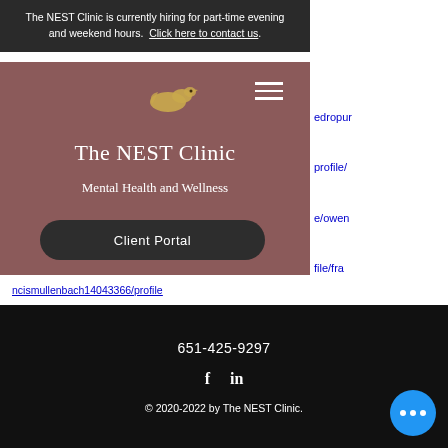The NEST Clinic is currently hiring for part-time evening and weekend hours. Click here to contact us.
[Figure (logo): The NEST Clinic bird logo in gold/yellow on mauve background]
The NEST Clinic
Mental Health and Wellness
Client Portal
edropur
profile/
e/owen
file/fra
ncismullenbach14043366/profile
651-425-9297
f  in
© 2020-2022 by The NEST Clinic.